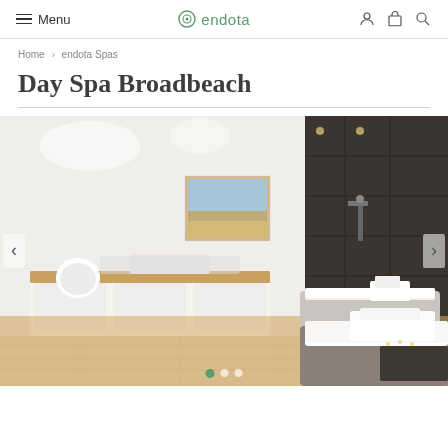Menu | endota | (icons: user, bag, search)
Home > endota Spas
Day Spa Broadbeach
[Figure (photo): Interior of an endota day spa treatment room in Broadbeach showing two massage tables with white linens, wooden bench cabinetry with a round white lamp, a seascape painting on the wall, dark tiled feature wall with shower area, wooden floors, and candles near a bathtub.]